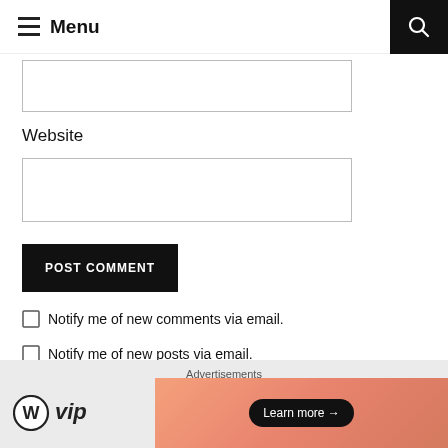Menu
Website
POST COMMENT
Notify me of new comments via email.
Notify me of new posts via email.
Advertisements
[Figure (logo): WordPress VIP logo with circle W icon and 'vip' text]
[Figure (infographic): Learn more button with arrow on orange/salmon gradient background]